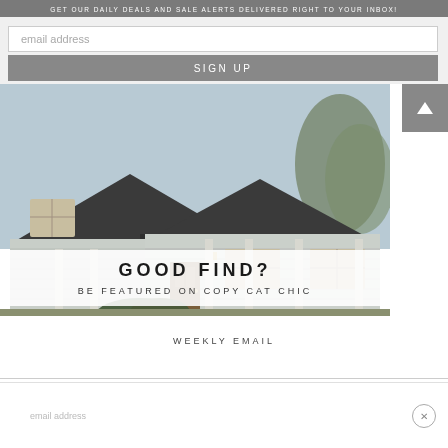GET OUR DAILY DEALS AND SALE ALERTS DELIVERED RIGHT TO YOUR INBOX!
email address
SIGN UP
[Figure (photo): A white farmhouse-style home with dark shingle roof, covered porch with columns, and trees in the background. Overlaid text reads 'GOOD FIND? BE FEATURED ON COPY CAT CHIC'.]
WEEKLY EMAIL
email address